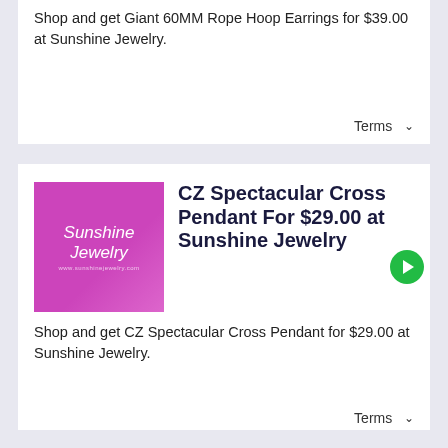Shop and get Giant 60MM Rope Hoop Earrings for $39.00 at Sunshine Jewelry.
Terms ▾
CZ Spectacular Cross Pendant For $29.00 at Sunshine Jewelry
Shop and get CZ Spectacular Cross Pendant for $29.00 at Sunshine Jewelry.
Terms ▾
Sign Up To The Newsletter For Special Offers and Promotions at Sunshine